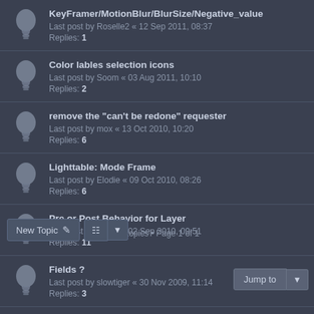KeyFramer/MotionBlur/BlurSize/Negative_value
Last post by Roselle2 « 12 Sep 2011, 08:37
Replies: 1
Color lables selection icons
Last post by Soom « 03 Aug 2011, 10:10
Replies: 2
remove the "can't be redone" requester
Last post by mox « 13 Oct 2010, 10:20
Replies: 6
Lighttable: Mode Frame
Last post by Elodie « 09 Oct 2010, 08:26
Replies: 6
Pre or Post Behavior for Layer
Last post by Byron « 02 Sep 2010, 09:51
Replies: 11
Fields ?
Last post by slowtiger « 30 Nov 2009, 11:14
Replies: 3
animLayer popu option panel
Last post by malconing « 30 Nov 2009, 08:10
Replies: 1
This website uses cookies to ensure you get the best experience on our website. Learn more
Got it!
New Topic
27 topics • Page 1 of 1
Jump to